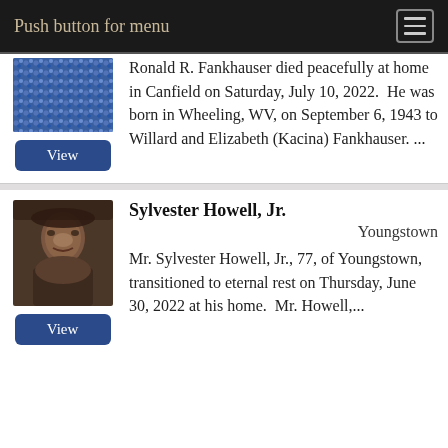Push button for menu
Ronald R. Fankhauser died peacefully at home in Canfield on Saturday, July 10, 2022.  He was born in Wheeling, WV, on September 6, 1943 to Willard and Elizabeth (Kacina) Fankhauser. ...
Sylvester Howell, Jr.
Youngstown
Mr. Sylvester Howell, Jr., 77, of Youngstown, transitioned to eternal rest on Thursday, June 30, 2022 at his home. Mr. Howell,...